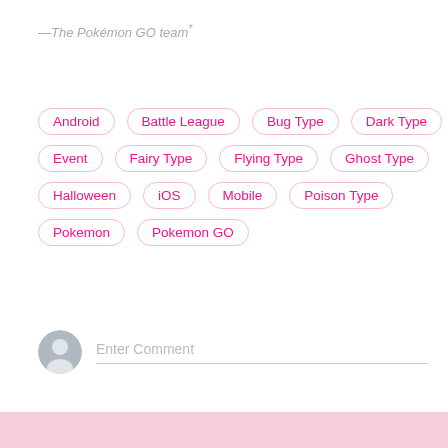—The Pokémon GO team*
Android
Battle League
Bug Type
Dark Type
Event
Fairy Type
Flying Type
Ghost Type
Halloween
iOS
Mobile
Poison Type
Pokemon
Pokemon GO
Enter Comment